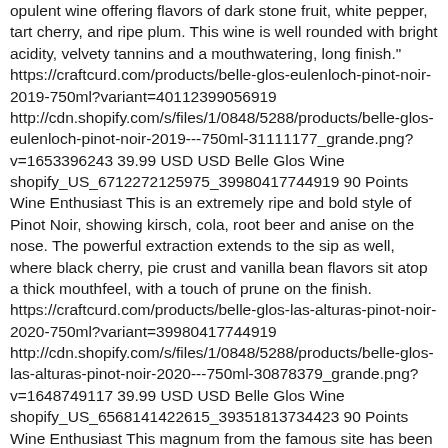opulent wine offering flavors of dark stone fruit, white pepper, tart cherry, and ripe plum. This wine is well rounded with bright acidity, velvety tannins and a mouthwatering, long finish." https://craftcurd.com/products/belle-glos-eulenloch-pinot-noir-2019-750ml?variant=40112399056919 http://cdn.shopify.com/s/files/1/0848/5288/products/belle-glos-eulenloch-pinot-noir-2019---750ml-31111177_grande.png?v=1653396243 39.99 USD USD Belle Glos Wine shopify_US_6712272125975_39980417744919 90 Points Wine Enthusiast This is an extremely ripe and bold style of Pinot Noir, showing kirsch, cola, root beer and anise on the nose. The powerful extraction extends to the sip as well, where black cherry, pie crust and vanilla bean flavors sit atop a thick mouthfeel, with a touch of prune on the finish. https://craftcurd.com/products/belle-glos-las-alturas-pinot-noir-2020-750ml?variant=39980417744919 http://cdn.shopify.com/s/files/1/0848/5288/products/belle-glos-las-alturas-pinot-noir-2020---750ml-30878379_grande.png?v=1648749117 39.99 USD USD Belle Glos Wine shopify_US_6568141422615_39351813734423 90 Points Wine Enthusiast This magnum from the famous site has been given years to age in its big bottle, mellowing to show subtle waves of baked cherry and plum along a velvety texture. Light seasonings of nutmeg, clove and cola add to its enduring richness. https://craftcurd.com/products/belle-glos-taylor-lane-vineyard-pinot-noir-2011-1-5l-magnum?variant=39351813734423 http://cdn.shopify.com/s/files/1/0848/5288/products/belle-glos-taylor-lane-vineyard-pinot-noir-2011-1-5l-magnum